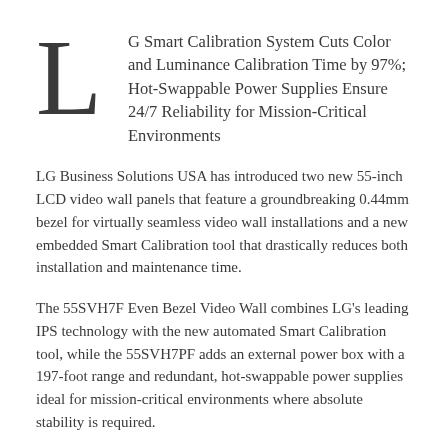LG Smart Calibration System Cuts Color and Luminance Calibration Time by 97%; Hot-Swappable Power Supplies Ensure 24/7 Reliability for Mission-Critical Environments
LG Business Solutions USA has introduced two new 55-inch LCD video wall panels that feature a groundbreaking 0.44mm bezel for virtually seamless video wall installations and a new embedded Smart Calibration tool that drastically reduces both installation and maintenance time.
The 55SVH7F Even Bezel Video Wall combines LG's leading IPS technology with the new automated Smart Calibration tool, while the 55SVH7PF adds an external power box with a 197-foot range and redundant, hot-swappable power supplies ideal for mission-critical environments where absolute stability is required.